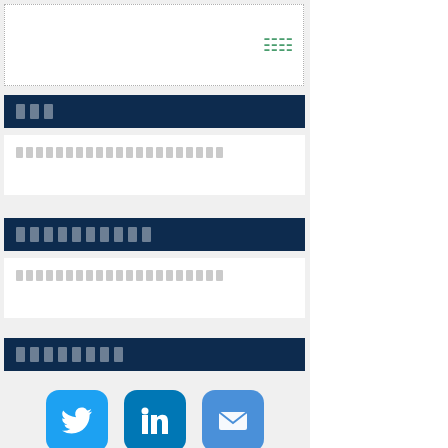[Figure (other): Dotted border box with small icon (grid/table icon) in green on the right side]
□□□
□□□□□□□□□□□□□□□□□□□□□
□□□□□□□□□□
□□□□□□□□□□□□□□□□□□□□□
□□□□□□□□
[Figure (other): Social media share icons: Twitter (blue bird), LinkedIn (blue in), Mail (blue envelope)]
Weber grilling par... To Its Most up-to-d... grilling. This Get b... spread on 4 cookin... into the best value... least 145 Y. If you... set it in a sealed z... Food Protection a... consistency may p...
And bottom part ci... can even now cha... no ned to focus o... food, the furthest y... Go through Custo... Barbeque grill CB... 1000s of producer...
Weber is in additio... material gates and... around and washi... these Weber smok... climatic attribute d... until they arrive at...